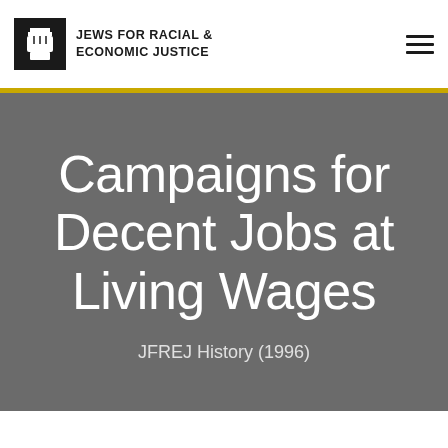JEWS FOR RACIAL & ECONOMIC JUSTICE
Campaigns for Decent Jobs at Living Wages
JFREJ History (1996)